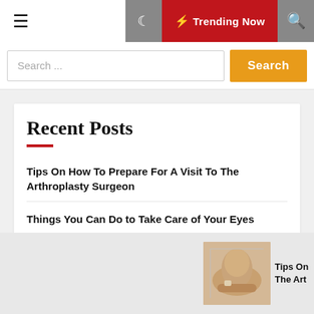☰  🌙  ⚡ Trending Now  🔍
Search ...
Recent Posts
Tips On How To Prepare For A Visit To The Arthroplasty Surgeon
Things You Can Do to Take Care of Your Eyes
How to use a Rollator
[Figure (photo): Photo of a knee/foot medical image related to arthroplasty]
Tips On The Art